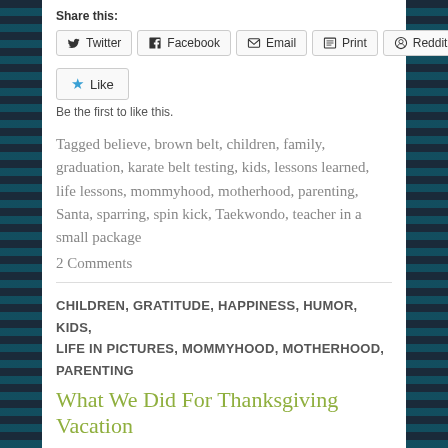Share this:
Twitter | Facebook | Email | Print | Reddit
Like
Be the first to like this.
Tagged believe, brown belt, children, family, graduation, karate belt testing, kids, lessons learned, life lessons, mommyhood, motherhood, parenting, Santa, sparring, spin kick, Taekwondo, teacher in a small package
2 Comments
CHILDREN, GRATITUDE, HAPPINESS, HUMOR, KIDS, LIFE IN PICTURES, MOMMYHOOD, MOTHERHOOD, PARENTING
What We Did For Thanksgiving Vacation